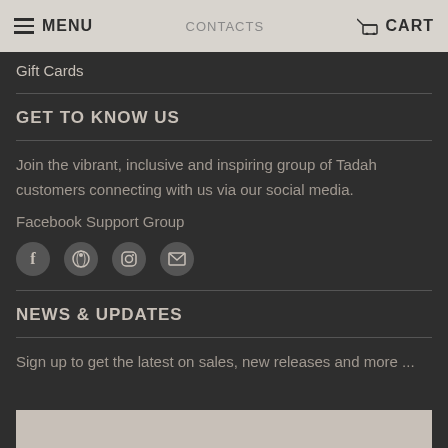MENU | CART
Gift Cards
GET TO KNOW US
Join the vibrant, inclusive and inspiring group of Tadah customers connecting with us via our social media.
Facebook Support Group
[Figure (infographic): Row of four social media icon circles: Facebook (f), Pinterest (P circle), Instagram (camera circle), Email (envelope)]
NEWS & UPDATES
Sign up to get the latest on sales, new releases and more ...